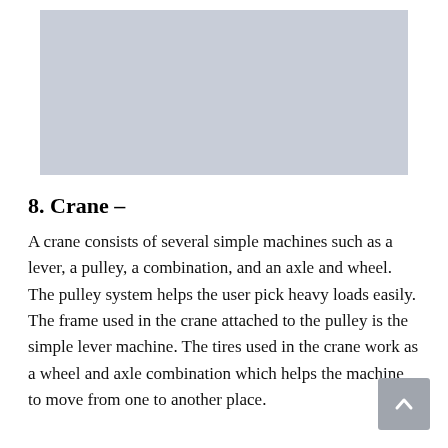[Figure (illustration): Gray placeholder image representing a crane illustration at the top of the page]
8. Crane –
A crane consists of several simple machines such as a lever, a pulley, a combination, and an axle and wheel. The pulley system helps the user pick heavy loads easily. The frame used in the crane attached to the pulley is the simple lever machine. The tires used in the crane work as a wheel and axle combination which helps the machine to move from one to another place.